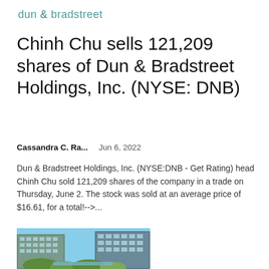dun & bradstreet
Chinh Chu sells 121,209 shares of Dun & Bradstreet Holdings, Inc. (NYSE: DNB)
Cassandra C. Ra...    Jun 6, 2022
Dun & Bradstreet Holdings, Inc. (NYSE:DNB - Get Rating) head Chinh Chu sold 121,209 shares of the company in a trade on Thursday, June 2. The stock was sold at an average price of $16.61, for a total<!--> ...
[Figure (photo): Exterior photo of modern multi-story residential or commercial buildings with green landscaping and a water feature in the foreground.]